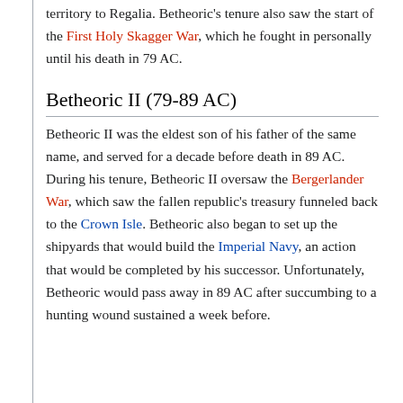territory to Regalia. Betheoric's tenure also saw the start of the First Holy Skagger War, which he fought in personally until his death in 79 AC.
Betheoric II (79-89 AC)
Betheoric II was the eldest son of his father of the same name, and served for a decade before death in 89 AC. During his tenure, Betheoric II oversaw the Bergerlander War, which saw the fallen republic's treasury funneled back to the Crown Isle. Betheoric also began to set up the shipyards that would build the Imperial Navy, an action that would be completed by his successor. Unfortunately, Betheoric would pass away in 89 AC after succumbing to a hunting wound sustained a week before.